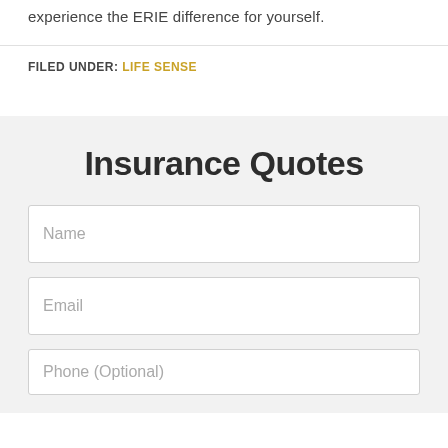experience the ERIE difference for yourself.
FILED UNDER: LIFE SENSE
Insurance Quotes
Name
Email
Phone (Optional)